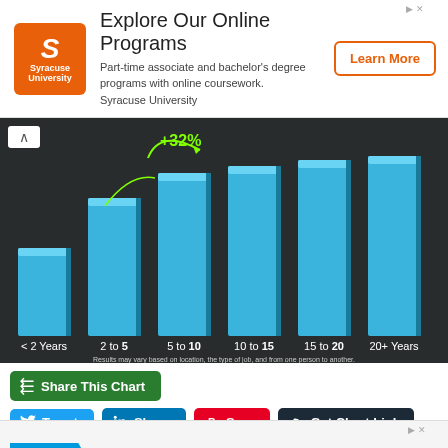[Figure (other): Syracuse University advertisement banner with orange logo, title 'Explore Our Online Programs', description text, and 'Learn More' button]
[Figure (bar-chart): Bar chart showing salary increase with years of experience. Categories: < 2 Years, 2 to 5, 5 to 10, 10 to 15, 15 to 20, 20+ Years. Annotation: +32% arrow. Disclaimer: Results may vary based on location, the type of job, and from one person to another.]
Share This Chart
Tweet  Share  Save  Get Chart Link
[Figure (other): SAP advertisement banner with blue SAP logo and text 'Build an agile supply']